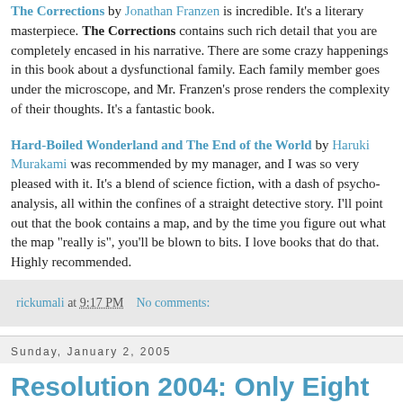The Corrections by Jonathan Franzen is incredible. It's a literary masterpiece. The Corrections contains such rich detail that you are completely encased in his narrative. There are some crazy happenings in this book about a dysfunctional family. Each family member goes under the microscope, and Mr. Franzen's prose renders the complexity of their thoughts. It's a fantastic book.
Hard-Boiled Wonderland and The End of the World by Haruki Murakami was recommended by my manager, and I was so very pleased with it. It's a blend of science fiction, with a dash of psycho-analysis, all within the confines of a straight detective story. I'll point out that the book contains a map, and by the time you figure out what the map "really is", you'll be blown to bits. I love books that do that. Highly recommended.
rickumali at 9:17 PM   No comments:
Sunday, January 2, 2005
Resolution 2004: Only Eight